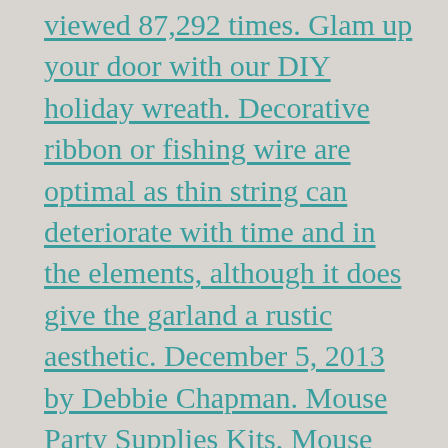viewed 87,292 times. Glam up your door with our DIY holiday wreath. Decorative ribbon or fishing wire are optimal as thin string can deteriorate with time and in the elements, although it does give the garland a rustic aesthetic. December 5, 2013 by Debbie Chapman. Mouse Party Supplies Kits, Mouse Birthday Banner Flags, Mouse Balloons, Hanging Swirls , Garland, Welcome Hanger Door Sign, cup cake wrappers,Cake and Cupcake Topper for Baby Kids Shower Mouse Favors Theme Decoration, 112PCS IN ALL. You can add an assortment of accents to it such as a bows, Christmas picks, fake snow or a garland. outside. This bow has four loops. 99 $30.99 $30.99. -19 in. A doorway hanger